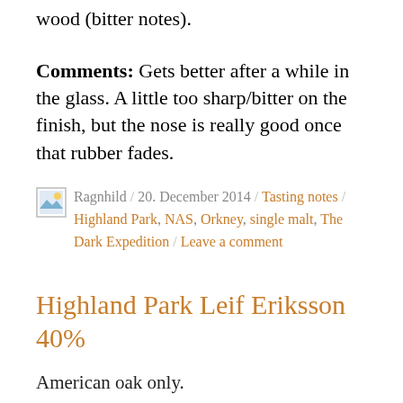wood (bitter notes).
Comments: Gets better after a while in the glass. A little too sharp/bitter on the finish, but the nose is really good once that rubber fades.
Ragnhild / 20. December 2014 / Tasting notes / Highland Park, NAS, Orkney, single malt, The Dark Expedition / Leave a comment
Highland Park Leif Eriksson 40%
American oak only.
[Figure (photo): Partial photo of a whisky bottle label or related imagery, black ink marks on light background, partially cropped]